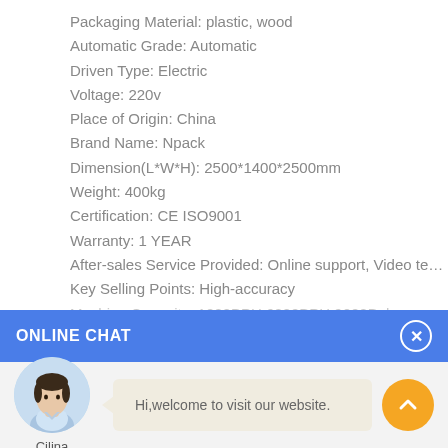Packaging Material: plastic, wood
Automatic Grade: Automatic
Driven Type: Electric
Voltage: 220v
Place of Origin: China
Brand Name: Npack
Dimension(L*W*H): 2500*1400*2500mm
Weight: 400kg
Certification: CE ISO9001
Warranty: 1 YEAR
After-sales Service Provided: Online support, Video technical su...
Key Selling Points: High-accuracy
Machine Capacity: 1000BPH 6000BPH 9000Bph
ONLINE CHAT
Hi,welcome to visit our website.
Cilina